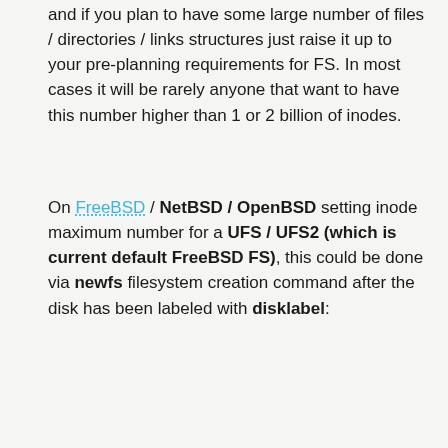and if you plan to have some large number of files / directories / links structures just raise it up to your pre-planning requirements for FS. In most cases it will be rarely anyone that want to have this number higher than 1 or 2 billion of inodes.
On FreeBSD / NetBSD / OpenBSD setting inode maximum number for a UFS / UFS2 (which is current default FreeBSD FS), this could be done via newfs filesystem creation command after the disk has been labeled with disklabel:
freebsd# newfs -i 1024 /dev/ada0s1d
Increase the Max Count of Inodes for